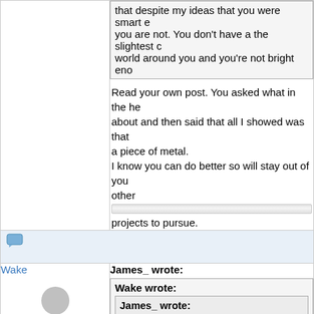that despite my ideas that you were smart e you are not. You don't have a the slightest c world around you and you're not bright eno
Read your own post. You asked what in the he about and then said that all I showed was that a piece of metal.
I know you can do better so will stay out of you other
projects to pursue.
[Figure (screenshot): Chat/message icon]
Wake
[Figure (illustration): Generic user avatar - grey silhouette]
★★★★★ (4034)
James_ wrote:
Wake wrote:
James_ wrote:
Wade,
Are you really that stupid or are you at it ? I think you are rude for a reaso that is because you do not understa science. After all black light is light th BLACK for the same reason light is color we see.
What do you not understand about l